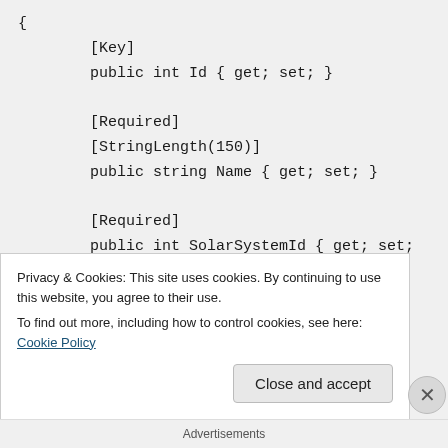{
        [Key]
        public int Id { get; set; }

        [Required]
        [StringLength(150)]
        public string Name { get; set; }

        [Required]
        public int SolarSystemId { get; set;
Privacy & Cookies: This site uses cookies. By continuing to use this website, you agree to their use.
To find out more, including how to control cookies, see here: Cookie Policy
Close and accept
Advertisements